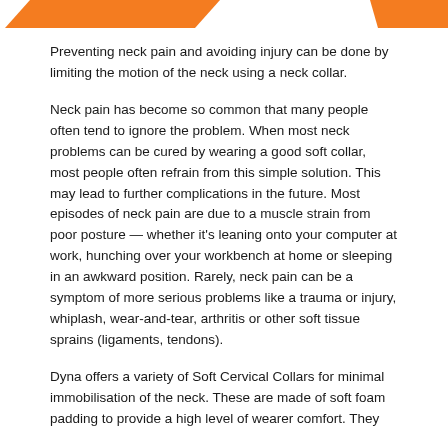[Figure (illustration): Orange parallelogram decorative shapes at the top of the page — one large on the left, one small on the right]
Preventing neck pain and avoiding injury can be done by limiting the motion of the neck using a neck collar.
Neck pain has become so common that many people often tend to ignore the problem. When most neck problems can be cured by wearing a good soft collar, most people often refrain from this simple solution. This may lead to further complications in the future. Most episodes of neck pain are due to a muscle strain from poor posture — whether it's leaning onto your computer at work, hunching over your workbench at home or sleeping in an awkward position. Rarely, neck pain can be a symptom of more serious problems like a trauma or injury, whiplash, wear-and-tear, arthritis or other soft tissue sprains (ligaments, tendons).
Dyna offers a variety of Soft Cervical Collars for minimal immobilisation of the neck. These are made of soft foam padding to provide a high level of wearer comfort. They